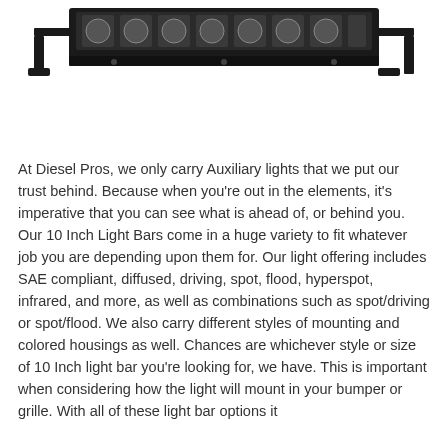[Figure (photo): A black LED light bar with mounting brackets on each end, photographed from the front against a white background. The bar contains multiple LED lights in a row.]
At Diesel Pros, we only carry Auxiliary lights that we put our trust behind. Because when you're out in the elements, it's imperative that you can see what is ahead of, or behind you. Our 10 Inch Light Bars come in a huge variety to fit whatever job you are depending upon them for. Our light offering includes SAE compliant, diffused, driving, spot, flood, hyperspot, infrared, and more, as well as combinations such as spot/driving or spot/flood. We also carry different styles of mounting and colored housings as well. Chances are whichever style or size of 10 Inch light bar you're looking for, we have. This is important when considering how the light will mount in your bumper or grille. With all of these light bar options it